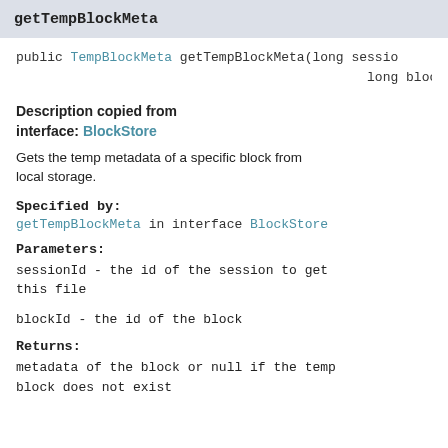getTempBlockMeta
public TempBlockMeta getTempBlockMeta(long sessionId,
                                      long blockId)
Description copied from
interface: BlockStore
Gets the temp metadata of a specific block from local storage.
Specified by:
getTempBlockMeta in interface BlockStore
Parameters:
sessionId - the id of the session to get this file
blockId - the id of the block
Returns:
metadata of the block or null if the temp block does not exist